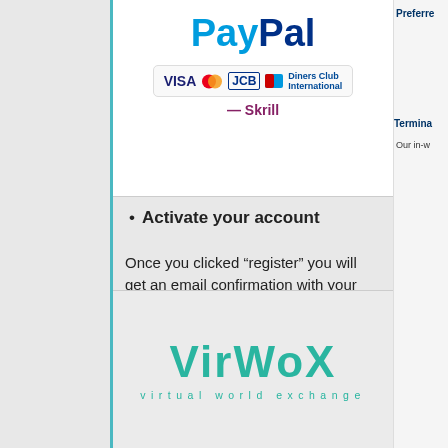[Figure (screenshot): PayPal logo with credit card icons (VISA, Mastercard, JCB, Maestro, Diners Club) and partial Skrill logo]
Activate your account
Once you clicked “register” you will get an email confirmation with your password. Open the email, copy the password and log back into VirWox.
IMPORTANT!!! Change your password!
After clicking the confirmation link it is advised you change your password as shown below since you will be transferring money through this site.
[Figure (logo): VirWox virtual world exchange logo in teal/green color]